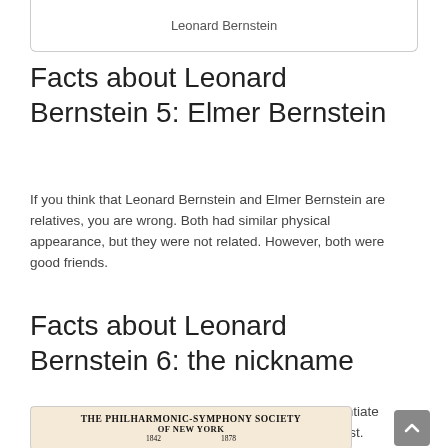[Figure (photo): Top portion of a photo of Leonard Bernstein, cropped at the top of the page]
Leonard Bernstein
Facts about Leonard Bernstein 5: Elmer Bernstein
If you think that Leonard Bernstein and Elmer Bernstein are relatives, you are wrong. Both had similar physical appearance, but they were not related. However, both were good friends.
Facts about Leonard Bernstein 6: the nickname
Leonard was often called as Bernstein East to differentiate him from Elmer who was nicknamed as Bernstein West.
[Figure (photo): Bottom of page showing a historical document or poster: THE PHILHARMONIC-SYMPHONY SOCIETY OF NEW YORK, years 1842 and 1878 visible]